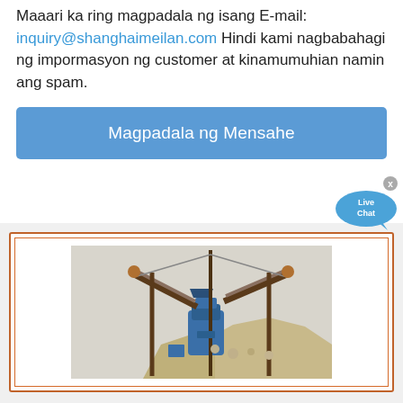Maaari ka ring magpadala ng isang E-mail: inquiry@shanghaimeilan.com Hindi kami nagbabahagi ng impormasyon ng customer at kinamumuhian namin ang spam.
[Figure (screenshot): Blue button labeled 'Magpadala ng Mensahe' with a Live Chat bubble in the bottom right corner with an X close button]
[Figure (photo): Industrial mining/crushing machine with conveyor belts and a large pile of crushed stone/gravel on an outdoor site]